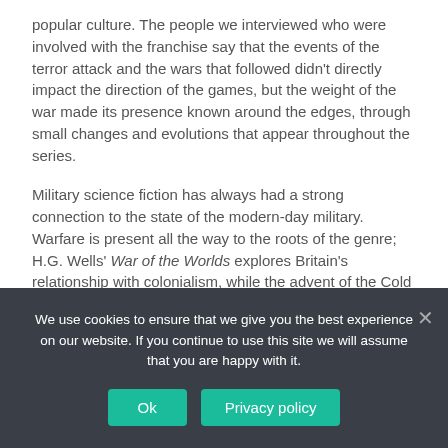popular culture. The people we interviewed who were involved with the franchise say that the events of the terror attack and the wars that followed didn't directly impact the direction of the games, but the weight of the war made its presence known around the edges, through small changes and evolutions that appear throughout the series.
Military science fiction has always had a strong connection to the state of the modern-day military. Warfare is present all the way to the roots of the genre; H.G. Wells' War of the Worlds explores Britain's relationship with colonialism, while the advent of the Cold War and the prospect of nuclear destruction prompted Robert Heinlein to muse about citizenship and power-armored soldiers in his 1959 novel Starship Troopers.
As such, when Halo set its start, Bungie helped start of its mission...
We use cookies to ensure that we give you the best experience on our website. If you continue to use this site we will assume that you are happy with it.